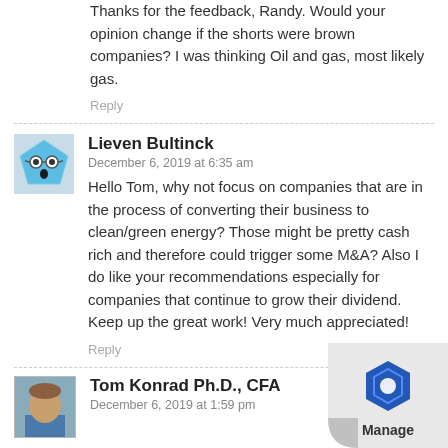Thanks for the feedback, Randy. Would your opinion change if the shorts were brown companies? I was thinking Oil and gas, most likely gas.
Reply
Lieven Bultinck
December 6, 2019 at 6:35 am
Hello Tom, why not focus on companies that are in the process of converting their business to clean/green energy? Those might be pretty cash rich and therefore could trigger some M&A? Also I do like your recommendations especially for companies that continue to grow their dividend. Keep up the great work! Very much appreciated!
Reply
Tom Konrad Ph.D., CFA
December 6, 2019 at 1:59 pm